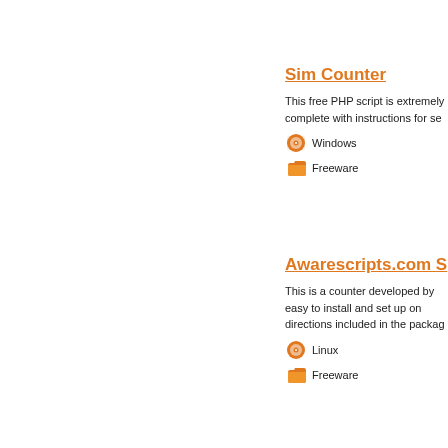Sim Counter
This free PHP script is extremely complete with instructions for se...
Windows
Freeware
Awarescripts.com S...
This is a counter developed by easy to install and set up on directions included in the packag...
Linux
Freeware